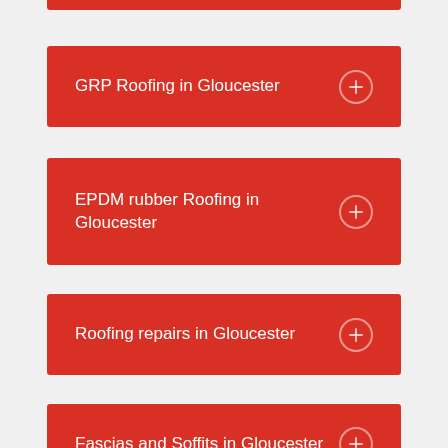GRP Roofing in Gloucester
EPDM rubber Roofing in Gloucester
Roofing repairs in Gloucester
Fascias and Soffits in Gloucester